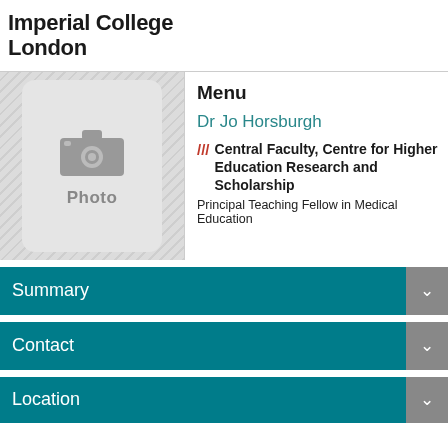Imperial College London
Menu
[Figure (photo): Placeholder photo box with camera icon and label 'Photo' on a hatched background]
Dr Jo Horsburgh
/// Central Faculty, Centre for Higher Education Research and Scholarship
Principal Teaching Fellow in Medical Education
Summary
Contact
Location